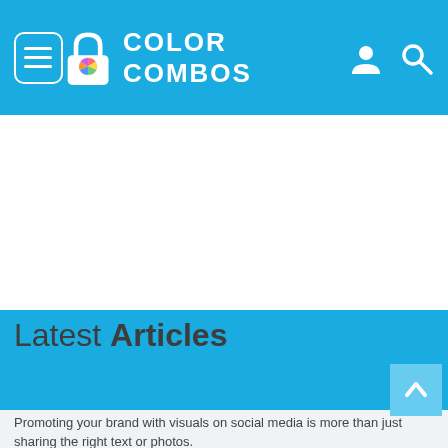COLOR COMBOS
[Figure (other): White advertisement banner area]
[Figure (other): Blue advertisement banner area]
Latest Articles
How to Use Color in Your Social Media Strategy
Promoting your brand with visuals on social media is more than just sharing the right text or photos.